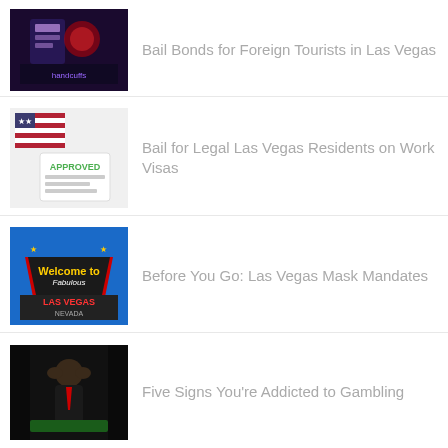Bail Bonds for Foreign Tourists in Las Vegas
Bail for Legal Las Vegas Residents on Work Visas
Before You Go: Las Vegas Mask Mandates
Five Signs You're Addicted to Gambling
The Methods of the Bounty Hunter